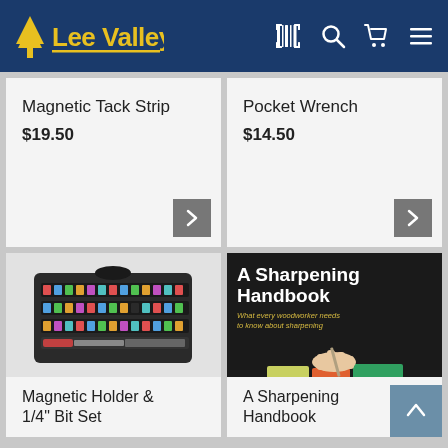Lee Valley
Magnetic Tack Strip
$19.50
Pocket Wrench
$14.50
[Figure (photo): Magnetic Holder & 1/4" Bit Set - a folding case with multiple color-coded screwdriver bits arranged in rows]
[Figure (photo): Book cover: A Sharpening Handbook by Richard D. Wile - shows hands sharpening a tool on colorful whetstones]
Magnetic Holder & 1/4" Bit Set
A Sharpening Handbook